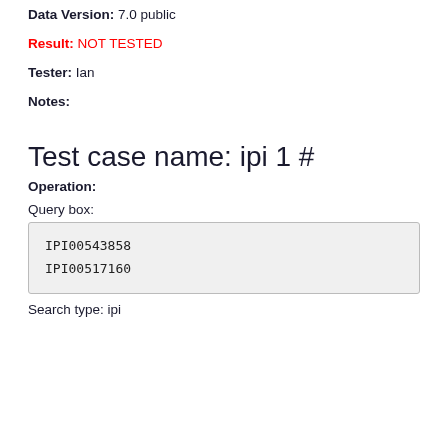Data Version: 7.0 public
Result: NOT TESTED
Tester: Ian
Notes:
Test case name: ipi 1 #
Operation:
Query box:
IPI00543858
IPI00517160
Search type: ipi